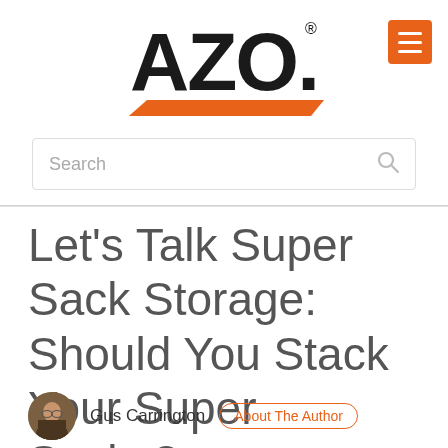[Figure (logo): AZO logo with orange underline bar and registered trademark symbol]
[Figure (other): Orange hamburger menu button in top right corner]
Search
Let's Talk Super Sack Storage: Should You Stack Your Super Sacks?
Gus Carrington  About The Author